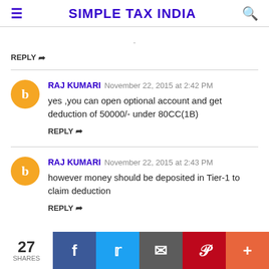SIMPLE TAX INDIA
REPLY
RAJ KUMARI November 22, 2015 at 2:42 PM
yes ,you can open optional account and get deduction of 50000/- under 80CC(1B)
REPLY
RAJ KUMARI November 22, 2015 at 2:43 PM
however money should be deposited in Tier-1 to claim deduction
REPLY
27 SHARES